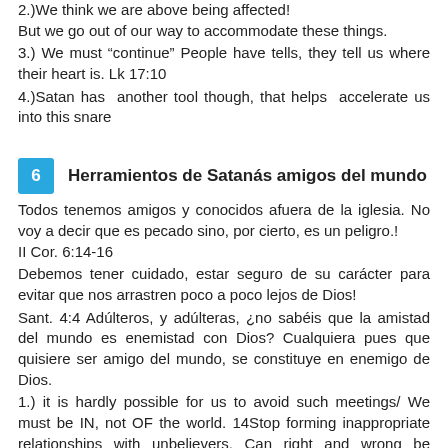2.)We think we are above being affected!
But we go out of our way to accommodate these things.
3.) We must “continue” People have tells, they tell us where their heart is. Lk 17:10
4.)Satan has another tool though, that helps accelerate us into this snare
6  Herramientos de Satanás amigos del mundo
Todos tenemos amigos y conocidos afuera de la iglesia. No voy a decir que es pecado sino, por cierto, es un peligro.!
II Cor. 6:14-16
Debemos tener cuidado, estar seguro de su carácter para evitar que nos arrastren poco a poco lejos de Dios!
Sant. 4:4 Adúnlteros, y adúlteras, ¿no sabéis que la amistad del mundo es enemistad con Dios? Cualquiera pues que quisiere ser amigo del mundo, se constituye en enemigo de Dios.
1.) it is hardly possible for us to avoid such meetings/ We must be IN, not OF the world. 14Stop forming inappropriate relationships with unbelievers. Can right and wrong be partners? Can light have anything in common with darkness? 15Can Christ agree with the devil? Can a believer share life